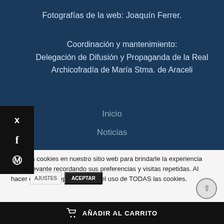Fotografías de la web: Joaquín Ferrer.
Coordinación y mantenimiento:
Delegación de Difusión y Propaganda de la Real Archicofradía de María Stma. de Araceli
Inicio
Noticias
Usamos cookies en nuestro sitio web para brindarle la experiencia más relevante recordando sus preferencias y visitas repetidas. Al hacer clic en "Aceptar", acepta el uso de TODAS las cookies.
AÑADIR AL CARRITO